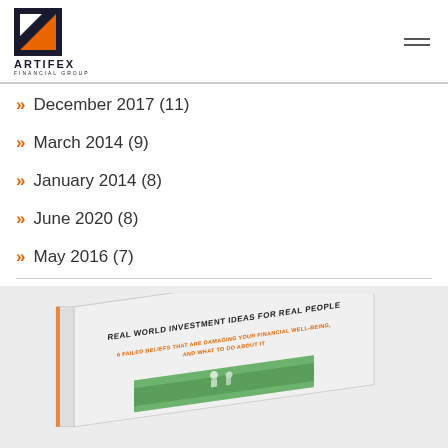ARTIFEX FINANCIAL GROUP
» December 2017 (11)
» March 2014 (9)
» January 2014 (8)
» June 2020 (8)
» May 2016 (7)
[Figure (photo): A book cover titled 'REAL WORLD INVESTMENT IDEAS FOR REAL PEOPLE' with subtitle '6 FAILED BELIEFS THAT ARE DAMAGING YOUR FINANCIAL WELL-BEING, AND WHAT TO DO ABOUT IT', shown at an angle with a small image of people on a golf course at the bottom.]